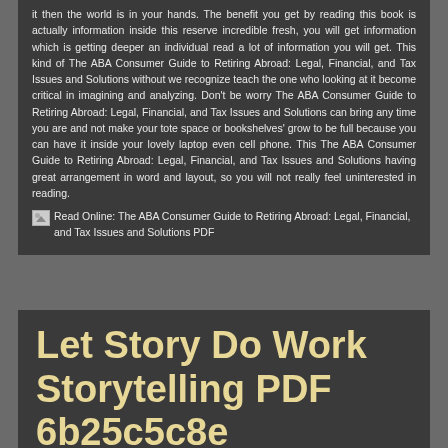it then the world is in your hands. The benefit you get by reading this book is actually information inside this reserve incredible fresh, you will get information which is getting deeper an individual read a lot of information you will get. This kind of The ABA Consumer Guide to Retiring Abroad: Legal, Financial, and Tax Issues and Solutions without we recognize teach the one who looking at it become critical in imagining and analyzing. Don't be worry The ABA Consumer Guide to Retiring Abroad: Legal, Financial, and Tax Issues and Solutions can bring any time you are and not make your tote space or bookshelves' grow to be full because you can have it inside your lovely laptop even cell phone. This The ABA Consumer Guide to Retiring Abroad: Legal, Financial, and Tax Issues and Solutions having great arrangement in word and layout, so you will not really feel uninterested in reading.
Read Online: The ABA Consumer Guide to Retiring Abroad: Legal, Financial, and Tax Issues and Solutions PDF
Let Story Do Work Storytelling PDF 6b25c5c8e